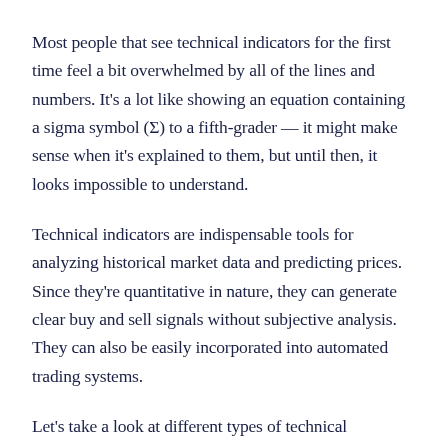Most people that see technical indicators for the first time feel a bit overwhelmed by all of the lines and numbers. It's a lot like showing an equation containing a sigma symbol (Σ) to a fifth-grader — it might make sense when it's explained to them, but until then, it looks impossible to understand.
Technical indicators are indispensable tools for analyzing historical market data and predicting prices. Since they're quantitative in nature, they can generate clear buy and sell signals without subjective analysis. They can also be easily incorporated into automated trading systems.
Let's take a look at different types of technical indicators, some of the most common indicators, and how to use them to increase your risk-adjusted returns.